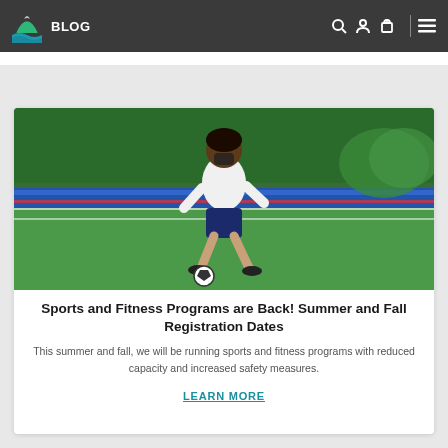BLOG
[Figure (photo): Child in white shirt and dark shorts kicking a soccer ball on a green artificial turf field with blue track lanes in the background]
Sports and Fitness Programs are Back! Summer and Fall Registration Dates
This summer and fall, we will be running sports and fitness programs with reduced capacity and increased safety measures.
LEARN MORE